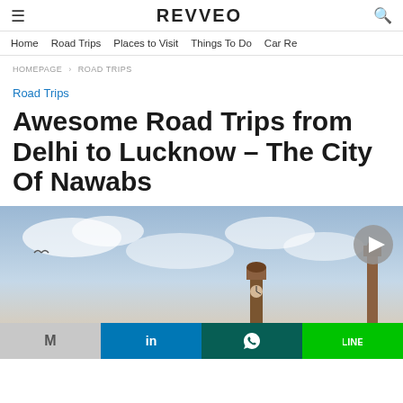≡  REVVEO  🔍
Home   Road Trips   Places to Visit   Things To Do   Car Re...
HOMEPAGE › ROAD TRIPS
Road Trips
Awesome Road Trips from Delhi to Lucknow – The City Of Nawabs
[Figure (photo): Skyline photo with mosque/minaret architecture against a cloudy sky, Lucknow]